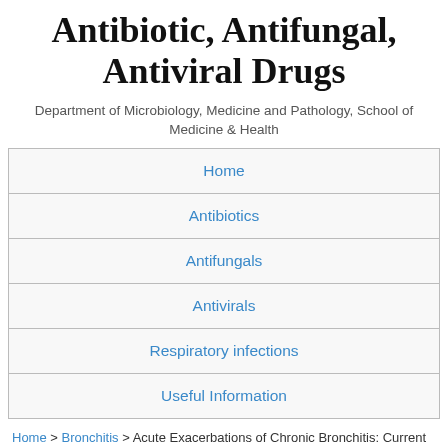Antibiotic, Antifungal, Antiviral Drugs
Department of Microbiology, Medicine and Pathology, School of Medicine & Health
Home
Antibiotics
Antifungals
Antivirals
Respiratory infections
Useful Information
Home > Bronchitis > Acute Exacerbations of Chronic Bronchitis: Current therapies
★★★★★ (No Ratings Yet)